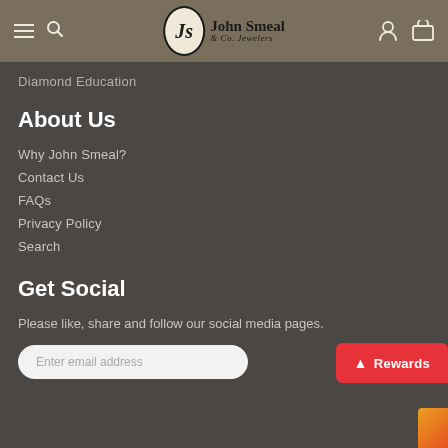John Smeal & Co. Jewelers
Diamond Education
About Us
Why John Smeal?
Contact Us
FAQs
Privacy Policy
Search
Get Social
Please like, share and follow our social media pages.
Enter email address